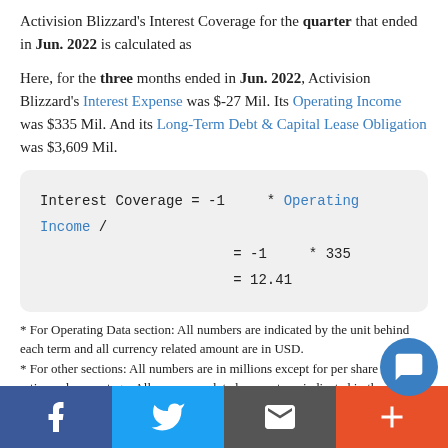Activision Blizzard's Interest Coverage for the quarter that ended in Jun. 2022 is calculated as
Here, for the three months ended in Jun. 2022, Activision Blizzard's Interest Expense was $-27 Mil. Its Operating Income was $335 Mil. And its Long-Term Debt & Capital Lease Obligation was $3,609 Mil.
* For Operating Data section: All numbers are indicated by the unit behind each term and all currency related amount are in USD.
* For other sections: All numbers are in millions except for per share data, ratio, and percentage. All currency related amount are indicated in the company's associated stock exchange curren...
Facebook | Twitter | Email | Plus